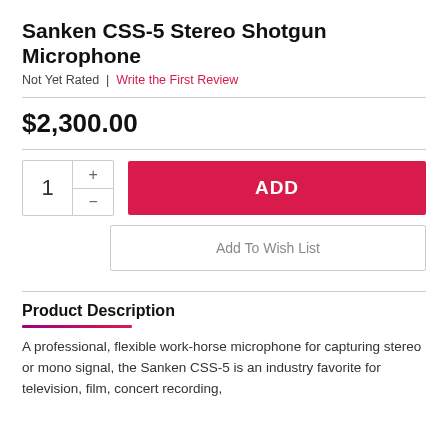Sanken CSS-5 Stereo Shotgun Microphone
Not Yet Rated | Write the First Review
$2,300.00
[Figure (other): Quantity selector with plus and minus buttons showing value 1, and a red ADD button]
[Figure (other): Add To Wish List button]
Product Description
A professional, flexible work-horse microphone for capturing stereo or mono signal, the Sanken CSS-5 is an industry favorite for television, film, concert recording,